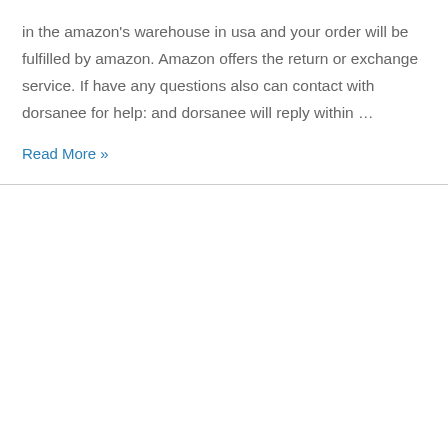in the amazon's warehouse in usa and your order will be fulfilled by amazon. Amazon offers the return or exchange service. If have any questions also can contact with dorsanee for help: and dorsanee will reply within …
Read More »